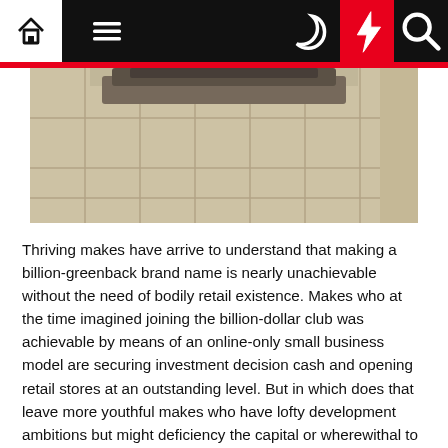Navigation bar with home, menu, moon, lightning, and search icons
[Figure (photo): Close-up photo of stacked folded clothing on a light wooden surface or crates, beige/cream tones]
Thriving makes have arrive to understand that making a billion-greenback brand name is nearly unachievable without the need of bodily retail existence. Makes who at the time imagined joining the billion-dollar club was achievable by means of an online-only small business model are securing investment decision cash and opening retail stores at an outstanding level. But in which does that leave more youthful makes who have lofty development ambitions but might deficiency the capital or wherewithal to set up a meaningful retail presence? A single solution for younger manufacturers to consider is Pop-Up stores.